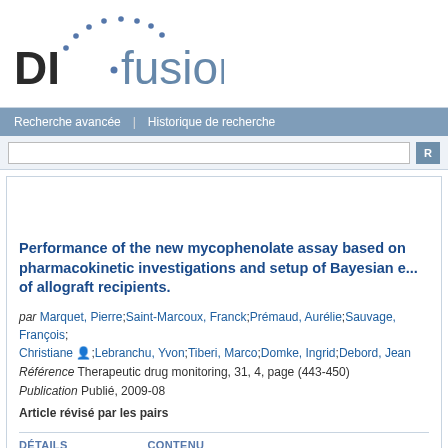[Figure (logo): DI-fusion repository logo with dots arc and bold DI·fusion text]
Recherche avancée  |  Historique de recherche
Performance of the new mycophenolate assay based on pharmacokinetic investigations and setup of Bayesian e... of allograft recipients.
par Marquet, Pierre;Saint-Marcoux, Franck;Prémaud, Aurélie;Sauvage, François;Christiane ;Lebranchu, Yvon;Tiberi, Marco;Domke, Ingrid;Debord, Jean
Référence Therapeutic drug monitoring, 31, 4, page (443-450)
Publication Publié, 2009-08
Article révisé par les pairs
DÉTAILS   CONTENU